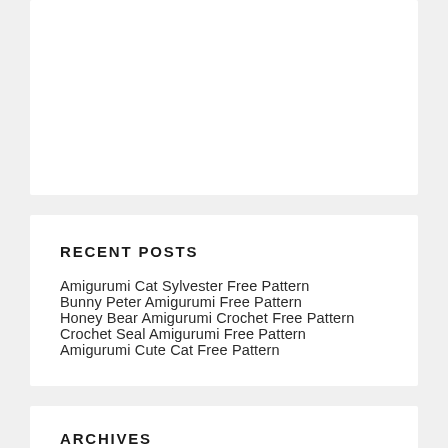RECENT POSTS
Amigurumi Cat Sylvester Free Pattern
Bunny Peter Amigurumi Free Pattern
Honey Bear Amigurumi Crochet Free Pattern
Crochet Seal Amigurumi Free Pattern
Amigurumi Cute Cat Free Pattern
ARCHIVES